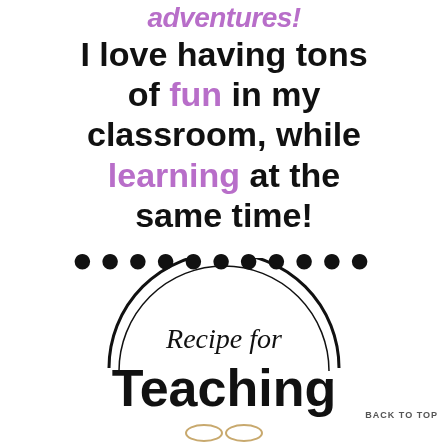adventures! I love having tons of fun in my classroom, while learning at the same time! ●●●●●●●●●●●
[Figure (logo): Recipe for Teaching circular logo with cursive text 'Recipe for' and bold 'Teaching' below, with decorative circle border]
BACK TO TOP